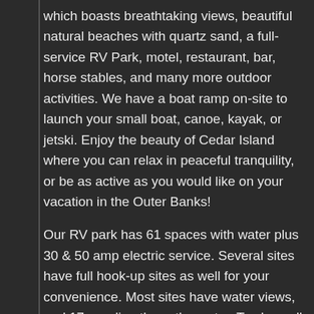which boasts breathtaking views, beautiful natural beaches with quartz sand, a full-service RV Park, motel, restaurant, bar, horse stables, and many more outdoor activities. We have a boat ramp on-site to launch your small boat, canoe, kayak, or jetski. Enjoy the beauty of Cedar Island where you can relax in peaceful tranquility, or be as active as you would like on your vacation in the Outer Banks!
Our RV park has 61 spaces with water plus 30 & 50 amp electric service. Several sites have full hook-up sites as well for your convenience. Most sites have water views, and 17 are directly on the water. Twelve pull-through sites are directly facing Cedar Island beach with fantastic views. We are located at the Cedar Island Ferry terminal to Ocracoke Island. We offer free